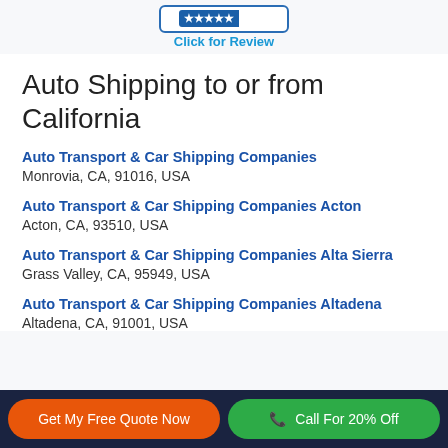[Figure (other): Review badge with stars and 'Click for Review' link]
Auto Shipping to or from California
Auto Transport & Car Shipping Companies
Monrovia, CA, 91016, USA
Auto Transport & Car Shipping Companies Acton
Acton, CA, 93510, USA
Auto Transport & Car Shipping Companies Alta Sierra
Grass Valley, CA, 95949, USA
Auto Transport & Car Shipping Companies Altadena
Altadena, CA, 91001, USA
Get My Free Quote Now | Call For 20% Off